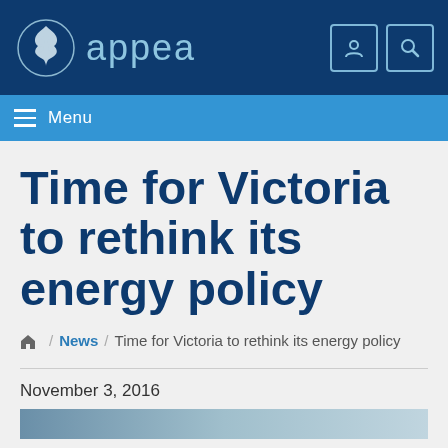[Figure (logo): APPEA logo with lion/flame emblem and text 'appea' on dark navy header bar with user and search icon buttons]
Menu
Time for Victoria to rethink its energy policy
Home / News / Time for Victoria to rethink its energy policy
November 3, 2016